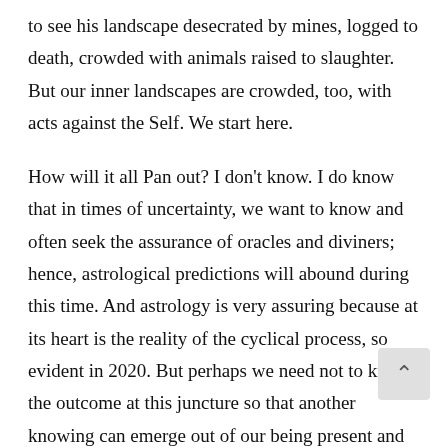to see his landscape desecrated by mines, logged to death, crowded with animals raised to slaughter. But our inner landscapes are crowded, too, with acts against the Self. We start here.
How will it all Pan out? I don't know. I do know that in times of uncertainty, we want to know and often seek the assurance of oracles and diviners; hence, astrological predictions will abound during this time. And astrology is very assuring because at its heart is the reality of the cyclical process, so evident in 2020. But perhaps we need not to know the outcome at this juncture so that another knowing can emerge out of our being present and participating in the process that involves us All.
I return to another Pan, a heroine who emerged at a time of great transition when the natural world was